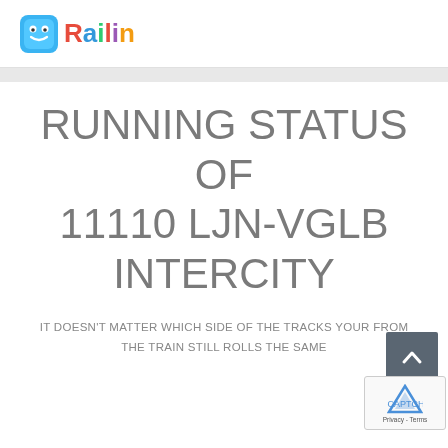Railin
RUNNING STATUS OF 11110 LJN-VGLB INTERCITY
IT DOESN'T MATTER WHICH SIDE OF THE TRACKS YOUR FROM
THE TRAIN STILL ROLLS THE SAME